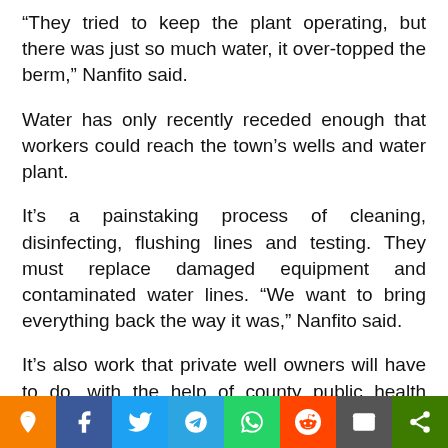“They tried to keep the plant operating, but there was just so much water, it over-topped the berm,” Nanfito said.
Water has only recently receded enough that workers could reach the town’s wells and water plant.
It’s a painstaking process of cleaning, disinfecting, flushing lines and testing. They must replace damaged equipment and contaminated water lines. “We want to bring everything back the way it was,” Nanfito said.
It’s also work that private well owners will have to do, with the help of county public health officials.
“Floodwaters can bring a lot of nitrates, E. coli and other bacteria,” said Broughton, the DNR senior environmental specialist. Floods also can damage septic tanks and sew…